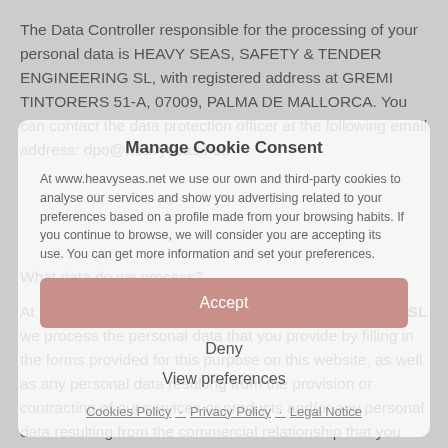The Data Controller responsible for the processing of your personal data is HEAVY SEAS, SAFETY & TENDER ENGINEERING SL, with registered address at GREMI TINTORERS 51-A, 07009, PALMA DE MALLORCA. You can contact the data protection officer at the following email address: dpo@heavyseas.net.
[Figure (screenshot): Cookie consent modal dialog overlay with title 'Manage Cookie Consent', descriptive text about cookie use, Accept button, Deny button, View preferences button, and links to Cookies Policy, Privacy Policy, Legal Notice]
What data do we process?
At HEAVY SEAS, SAFETY & TENDER ENGINEERING SL we process the personal data that you provide by filling in the forms provided for this purpose on this website, as well as any personal data resulting from the provision or contracting of our services or products and/or any personal data resulting from the commercial relationship that you have with us. In